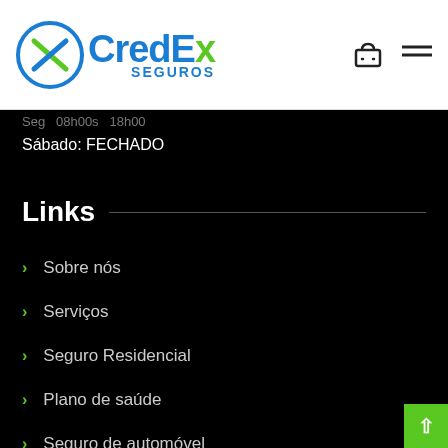[Figure (logo): CredEx Seguros logo with blue circle containing X mark, blue 'Cred' and 'E' text, green 'x' text, and 'SEGUROS' subtitle in blue]
Seg  08h00s  18h00
Sábado: FECHADO
Links
Sobre nós
Serviços
Seguro Residencial
Plano de saúde
Seguro de automóvel